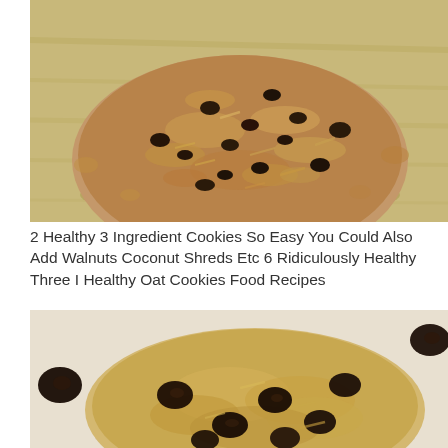[Figure (photo): Close-up photo of a large oatmeal cookie with dark chocolate chips on a wooden cutting board background.]
2 Healthy 3 Ingredient Cookies So Easy You Could Also Add Walnuts Coconut Shreds Etc 6 Ridiculously Healthy Three I Healthy Oat Cookies Food Recipes
[Figure (photo): Close-up photo of a banana oat cookie with chocolate chips on a white surface, with additional chocolate chips scattered around.]